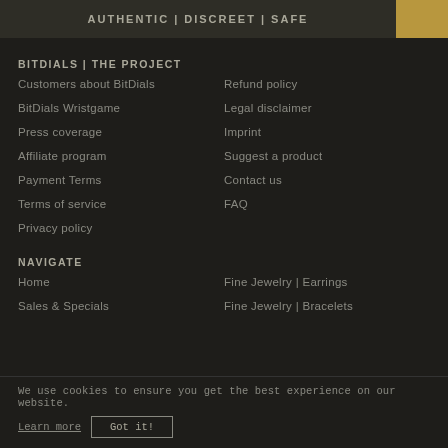AUTHENTIC | DISCREET | SAFE
BITDIALS | THE PROJECT
Customers about BitDials
BitDials Wristgame
Press coverage
Affiliate program
Payment Terms
Terms of service
Privacy policy
Refund policy
Legal disclaimer
Imprint
Suggest a product
Contact us
FAQ
NAVIGATE
Home
Sales & Specials
Fine Jewelry | Earrings
Fine Jewelry | Bracelets
We use cookies to ensure you get the best experience on our website.
Learn more  Got it!